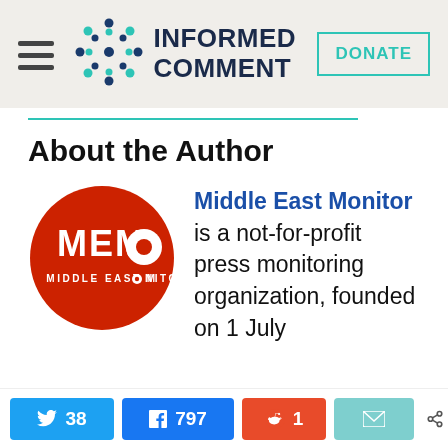INFORMED COMMENT | DONATE
About the Author
[Figure (logo): Middle East Monitor (MEMO) circular red logo with white text]
Middle East Monitor is a not-for-profit press monitoring organization, founded on 1 July
38 shares on Twitter | 797 shares on Facebook | 1 share on Reddit | Email | 836 SHARES